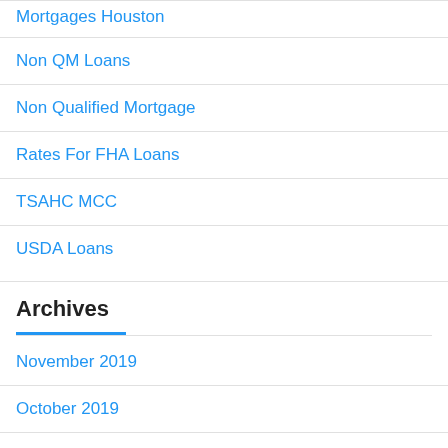Mortgages Houston
Non QM Loans
Non Qualified Mortgage
Rates For FHA Loans
TSAHC MCC
USDA Loans
Archives
November 2019
October 2019
September 2019
August 2019
July 2019